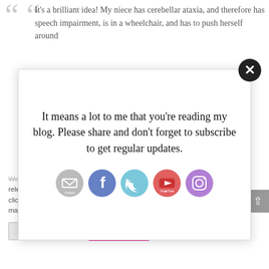It's a brilliant idea! My niece has cerebellar ataxia, and therefore has speech impairment, is in a wheelchair, and has to push herself around
It means a lot to me that you're reading my blog. Please share and don't forget to subscribe to get regular updates.
[Figure (infographic): Row of five social media icon buttons: Email/Follow (grey), Facebook (blue), Twitter (light blue), YouTube (red/orange), Instagram (pink/purple gradient)]
We use cookies on our website to give you the most relevant experience by remembering your preferences and repeat visits. By clicking "Accept All", you consent to the use of ALL the cookies. However, you may visit "Cookie Settings" to provide a controlled consent.
Cookie Settings
Accept All